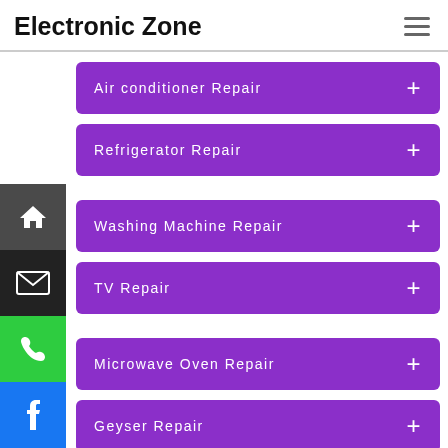Electronic Zone
Air conditioner Repair
Refrigerator Repair
Washing Machine Repair
TV Repair
Microwave Oven Repair
Geyser Repair
LG Service
Samsung Service (partially visible)